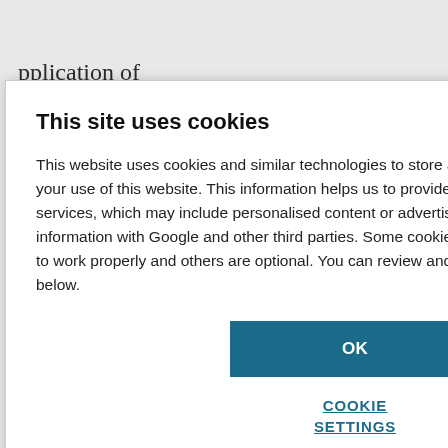pplication of , a specialist in London in the way that neutron derstand how ions.' ine had to be brain barrier. conformation t. Rather l hydrogen bond on that shields its the carbonyl
This site uses cookies
This website uses cookies and similar technologies to store and retrieve information about your use of this website. This information helps us to provide, analyse and improve our services, which may include personalised content or advertising. We may share this information with Google and other third parties. Some cookies are necessary for our website to work properly and others are optional. You can review and configure your cookie settings below.
OK
COOKIE SETTINGS